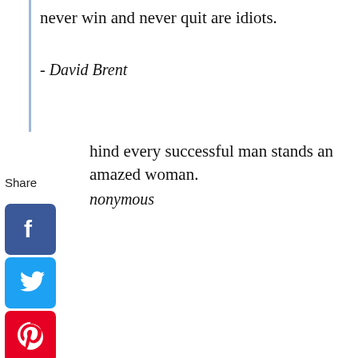never win and never quit are idiots.
- David Brent
hind every successful man stands an amazed woman.
nonymous
Share
[Figure (other): Social media share buttons: Facebook, Twitter, Pinterest, Tumblr, Reddit, WhatsApp, Messenger]
[Figure (other): Collapse/expand arrow pointing left]